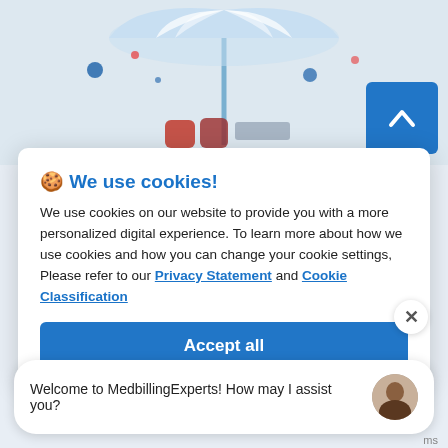[Figure (illustration): Decorative illustration of a beach umbrella with colorful items underneath, on a light blue background. Small colored dots scattered around.]
🍪 We use cookies!
We use cookies on our website to provide you with a more personalized digital experience. To learn more about how we use cookies and how you can change your cookie settings, Please refer to our Privacy Statement and Cookie Classification
Accept all
Welcome to MedbillingExperts! How may I assist you?